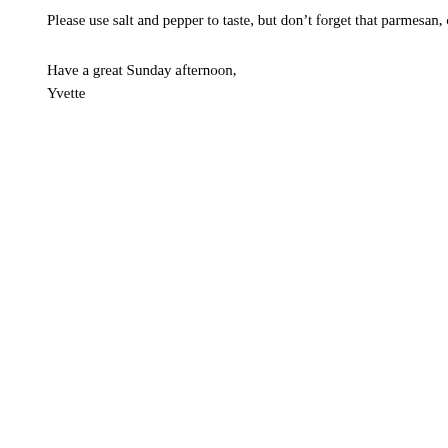Please use salt and pepper to taste, but don't forget that parmesan, olives and feta ar
Have a great Sunday afternoon,
Yvette